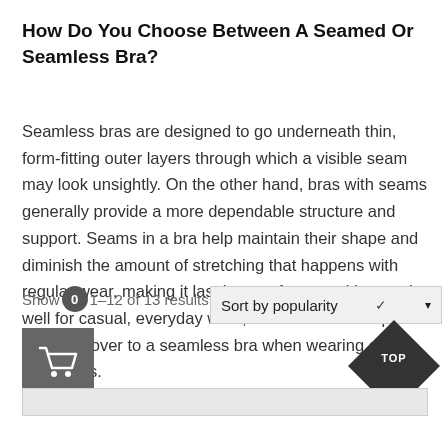How Do You Choose Between A Seamed Or Seamless Bra?
Seamless bras are designed to go underneath thin, form-fitting outer layers through which a visible seam may look unsightly. On the other hand, bras with seams generally provide a more dependable structure and support. Seams in a bra help maintain their shape and diminish the amount of stretching that happens with regular wear, making it last longer. A seamed bra works well for casual, everyday wear, but some women prefer to switch over to a seamless bra when wearing close-fitting tops.
Showing 1–12 of 13 results
[Figure (other): Sort by popularity dropdown, cart icon with badge 0, and TOP diamond navigation button]